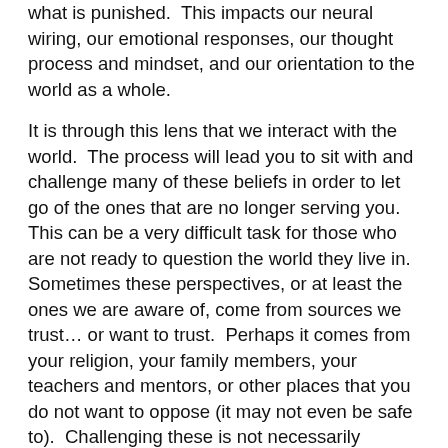what is punished.  This impacts our neural wiring, our emotional responses, our thought process and mindset, and our orientation to the world as a whole.
It is through this lens that we interact with the world.  The process will lead you to sit with and challenge many of these beliefs in order to let go of the ones that are no longer serving you.  This can be a very difficult task for those who are not ready to question the world they live in.  Sometimes these perspectives, or at least the ones we are aware of, come from sources we trust… or want to trust.  Perhaps it comes from your religion, your family members, your teachers and mentors, or other places that you do not want to oppose (it may not even be safe to).  Challenging these is not necessarily challenging where they came from, but a process of recognizing if they are helping or hindering you in this moment.  Again, easier said than done for many.
The process will lead you to sit with and challenge...